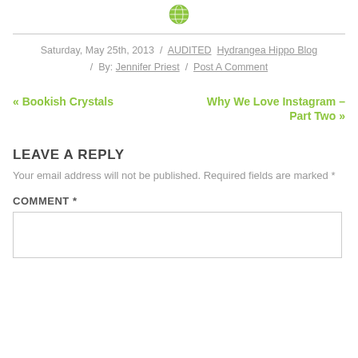[Figure (illustration): Small green globe/earth icon centered at top of page]
Saturday, May 25th, 2013 / AUDITED Hydrangea Hippo Blog / By: Jennifer Priest / Post A Comment
« Bookish Crystals
Why We Love Instagram – Part Two »
LEAVE A REPLY
Your email address will not be published. Required fields are marked *
COMMENT *